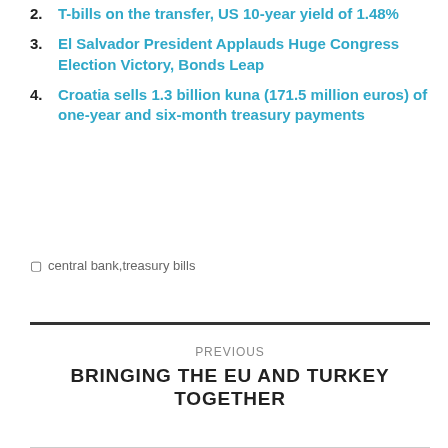2. T-bills on the transfer, US 10-year yield of 1.48%
3. El Salvador President Applauds Huge Congress Election Victory, Bonds Leap
4. Croatia sells 1.3 billion kuna (171.5 million euros) of one-year and six-month treasury payments
central bank,treasury bills
PREVIOUS
BRINGING THE EU AND TURKEY TOGETHER